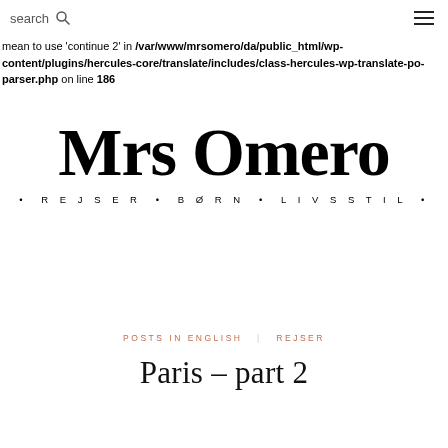search [icon] [hamburger menu]
mean to use 'continue 2' in /var/www/mrsomero/da/public_html/wp-content/plugins/hercules-core/translate/includes/class-hercules-wp-translate-po-parser.php on line 186
[Figure (logo): Mrs Omero logo with tagline: REJSER • BORN • LIVSSTIL]
POSTS IN ENGLISH    REJSER
Paris – part 2